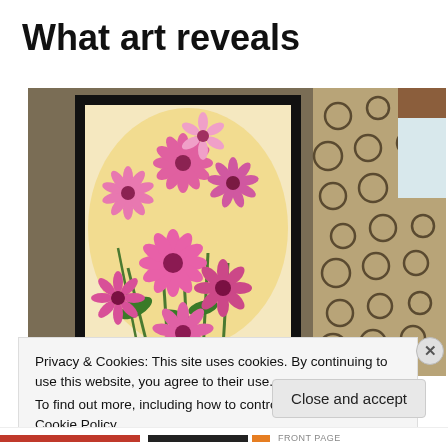What art reveals
[Figure (photo): A framed painting of pink daisy/chrysanthemum flowers hanging on a beige wall, next to a curtain with circular pattern design and a window visible on the right side.]
Privacy & Cookies: This site uses cookies. By continuing to use this website, you agree to their use.
To find out more, including how to control cookies, see here: Cookie Policy
Close and accept